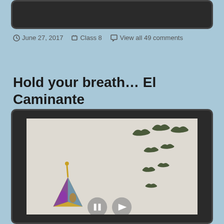[Figure (screenshot): Top portion of a dark-framed tablet/browser screenshot, showing a dark header area]
June 27, 2017   Class 8   View all 49 comments
Hold your breath… El Caminante
[Figure (screenshot): Video player showing artwork of birds flying above a colorful figure (El Caminante), with video playback controls at the bottom]